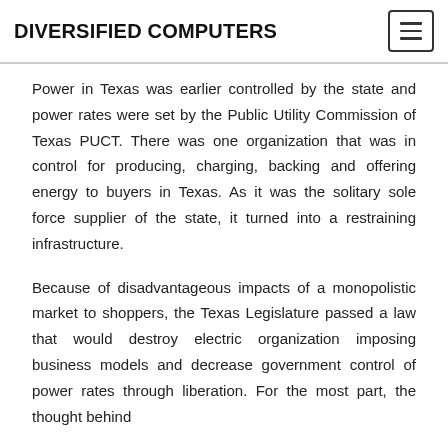DIVERSIFIED COMPUTERS
Power in Texas was earlier controlled by the state and power rates were set by the Public Utility Commission of Texas PUCT. There was one organization that was in control for producing, charging, backing and offering energy to buyers in Texas. As it was the solitary sole force supplier of the state, it turned into a restraining infrastructure.
Because of disadvantageous impacts of a monopolistic market to shoppers, the Texas Legislature passed a law that would destroy electric organization imposing business models and decrease government control of power rates through liberation. For the most part, the thought behind